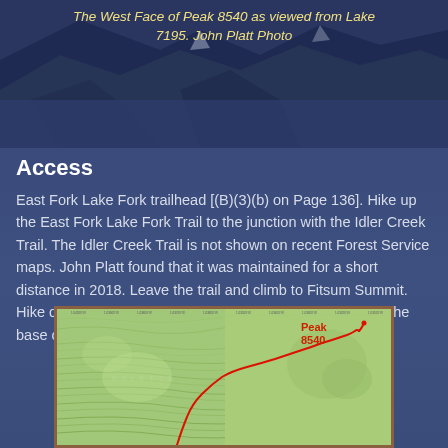The West Face of Peak 8540 as viewed from Lake 7195. John Platt Photo
Access
East Fork Lake Fork trailhead [(B)(3)(b) on Page 136]. Hike up the East Fork Lake Fork Trail to the junction with the Idler Creek Trail. The Idler Creek Trail is not shown on recent Forest Service maps. John Platt found that it was maintained for a short distance in 2018. Leave the trail and climb to Fitsum Summit. Hike down from the pass to the small lake at 7,195 feet at the base of the Peak 8540’s West Face.
[Figure (map): Topographic map showing trail route to Peak 8540, with red trail line marked and Peak 8540 labeled in red text at upper right.]